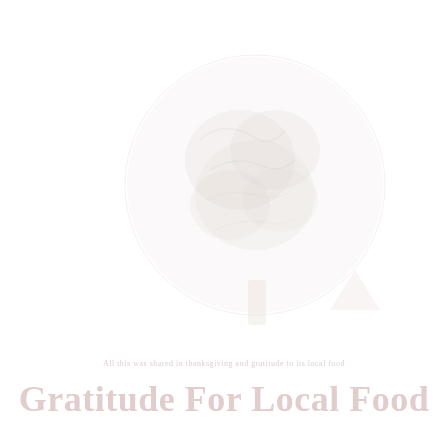[Figure (illustration): Faint watermark-style circular illustration of a globe or tree, very lightly rendered in gray tones, centered on the upper portion of the page]
All this was shared in thanksgiving and gratitude to its local food
Gratitude For Local Food